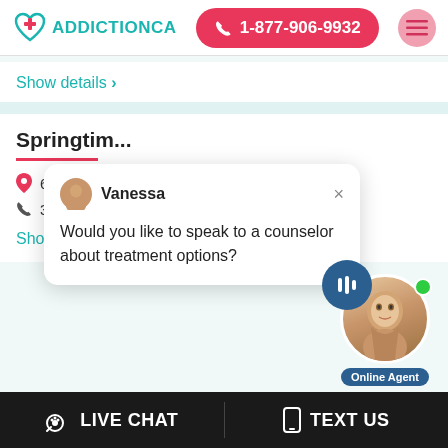[Figure (screenshot): AddictionCA website header with logo, phone number button 1-877-906-9932, and hamburger menu]
Show details >
Springtim...
6515 Eas...
317-849-0599.
Show details >
[Figure (screenshot): Chat popup with agent Vanessa asking: Would you like to speak to a counselor about treatment options?]
[Figure (photo): Online Agent photo with voice icon bubble and Online Agent label]
LIVE CHAT
TEXT US